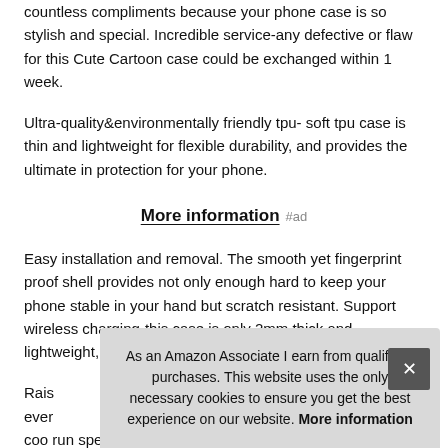countless compliments because your phone case is so stylish and special. Incredible service-any defective or flaw for this Cute Cartoon case could be exchanged within 1 week.
Ultra-quality&environmentally friendly tpu- soft tpu case is thin and lightweight for flexible durability, and provides the ultimate in protection for your phone.
More information #ad
Easy installation and removal. The smooth yet fingerprint proof shell provides not only enough hard to keep your phone stable in your hand but scratch resistant. Support wireless charging-this case is only 2mm thick and lightweight, add no bulk
Rais... ever... coo run special fashion pattern chooseproof
As an Amazon Associate I earn from qualifying purchases. This website uses the only necessary cookies to ensure you get the best experience on our website. More information